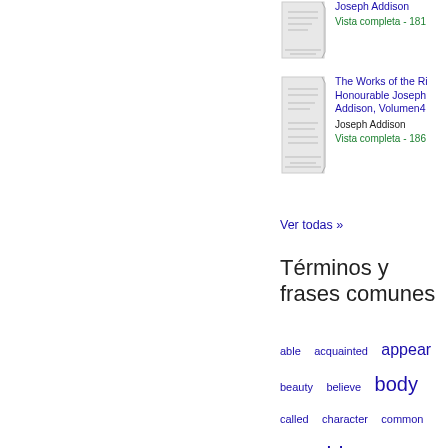[Figure (illustration): Thumbnail image of a book cover for Joseph Addison works]
Joseph Addison
Vista completa - 181
[Figure (illustration): Thumbnail image of a book cover for The Works of the Right Honourable Joseph Addison, Volumen4]
The Works of the Right Honourable Joseph Addison, Volumen4
Joseph Addison
Vista completa - 186
Ver todas »
Términos y frases comunes
able  acquainted  appear  beauty  believe  body  called  character  common  consider  consideration  conversation  creatures  death  desire  discover  dreams  English